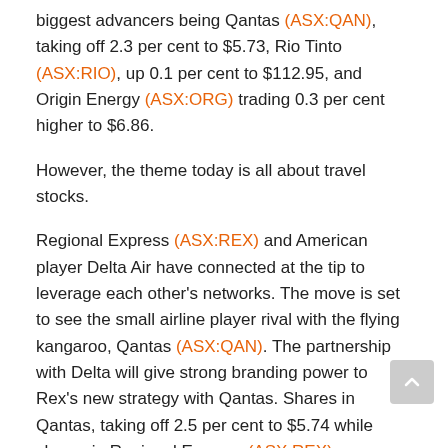biggest advancers being Qantas (ASX:QAN), taking off 2.3 per cent to $5.73, Rio Tinto (ASX:RIO), up 0.1 per cent to $112.95, and Origin Energy (ASX:ORG) trading 0.3 per cent higher to $6.86.
However, the theme today is all about travel stocks.
Regional Express (ASX:REX) and American player Delta Air have connected at the tip to leverage each other's networks. The move is set to see the small airline player rival with the flying kangaroo, Qantas (ASX:QAN). The partnership with Delta will give strong branding power to Rex's new strategy with Qantas. Shares in Qantas, taking off 2.5 per cent to $5.74 while shares in Regional Express (ASX:REX) are trading 2.4 per cent higher to $1.26.
Rio bright, energy, gold under pressure